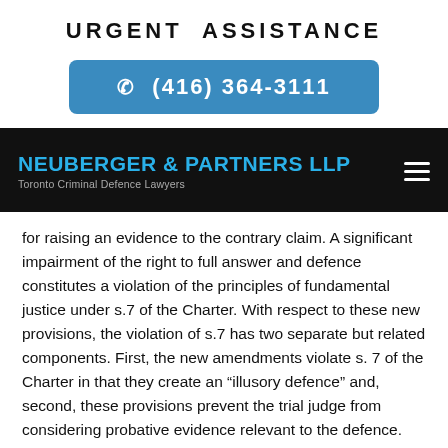URGENT ASSISTANCE
(416) 364-3111
NEUBERGER & PARTNERS LLP
Toronto Criminal Defence Lawyers
for raising an evidence to the contrary claim. A significant impairment of the right to full answer and defence constitutes a violation of the principles of fundamental justice under s.7 of the Charter. With respect to these new provisions, the violation of s.7 has two separate but related components. First, the new amendments violate s. 7 of the Charter in that they create an “illusory defence” and, second, these provisions prevent the trial judge from considering probative evidence relevant to the defence.